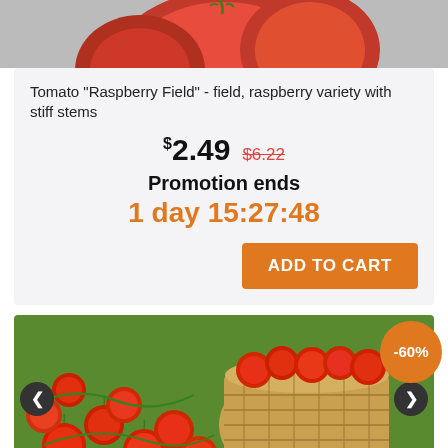[Figure (photo): Close-up photo of red tomatoes, partially cropped at top]
Tomato "Raspberry Field" - field, raspberry variety with stiff stems
$2.49  $6.22
Promotion ends
1 day 15:27:48
ADD TO CART
[Figure (photo): Cherry tomatoes in a wooden basket, with -60% discount badge overlay]
-60%